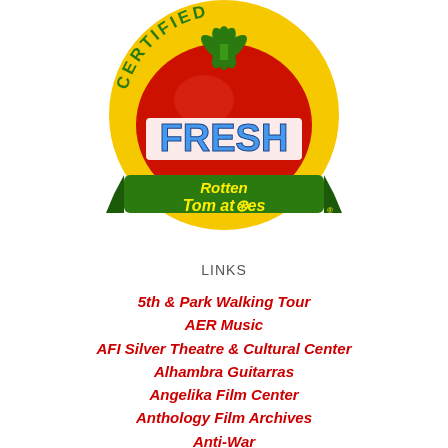[Figure (logo): Rotten Tomatoes Certified Fresh logo — circular badge with red tomato, yellow background, white bold FRESH text, green banner with yellow and white Rotten Tomatoes text]
LINKS
5th & Park Walking Tour
AER Music
AFI Silver Theatre & Cultural Center
Alhambra Guitarras
Angelika Film Center
Anthology Film Archives
Anti-War
ARCHITECTURAL STYLES OF CARNEGIE HILL WALKING TOUR